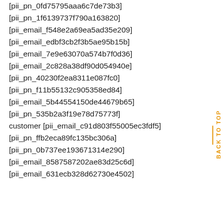[pii_pn_0fd75795aaa6c7de73b3]
[pii_pn_1f6139737f790a163820]
[pii_email_f548e2a69ea5ad35e209]
[pii_email_edbf3cb2f3b5ae95b15b]
[pii_email_7e9e63070a574b7f0d36]
[pii_email_2c828a38df90d054940e]
[pii_pn_40230f2ea8311e087fc0]
[pii_pn_f11b55132c905358ed84]
[pii_email_5b44554150de44679b65]
[pii_pn_535b2a3f19e78d75773f]
customer [pii_email_c91d803f55005ec3fdf5]
[pii_pn_ffb2eca89fc135bc306a]
[pii_pn_0b737ee193671314e290]
[pii_email_8587587202ae83d25c6d]
[pii_email_631ecb328d62730e4502]